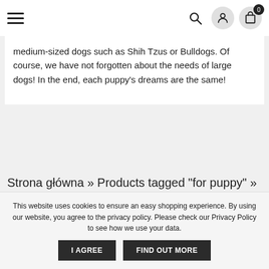Navigation header with hamburger menu, search icon, user icon, and cart icon (0 items)
medium-sized dogs such as Shih Tzus or Bulldogs. Of course, we have not forgotten about the needs of large dogs! In the end, each puppy's dreams are the same!
Strona główna » Products tagged "for puppy" » Page 2
This website uses cookies to ensure an easy shopping experience. By using our website, you agree to the privacy policy. Please check our Privacy Policy to see how we use your data.